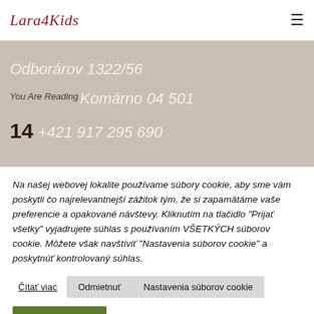LaraKids
Odborárov 1322/56
You Are Reading
Komárno 04 501
14
+421 917 295 690
Na našej webovej lokalite používame súbory cookie, aby sme vám poskytli čo najrelevantnejší zážitok tým, že si zapamätáme vaše preferencie a opakované návštevy. Kliknutím na tlačidlo "Prijať všetky" vyjadrujete súhlas s používaním VŠETKÝCH súborov cookie. Môžete však navštíviť "Nastavenia súborov cookie" a poskytnúť kontrolovaný súhlas.
Čítať viac
Odmietnuť
Nastavenia súborov cookie
Prijať všetky